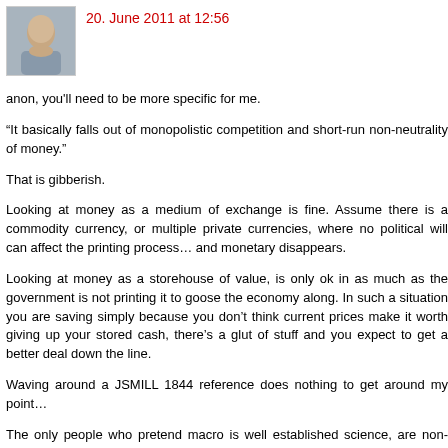20. June 2011 at 12:56
anon, you'll need to be more specific for me.
“It basically falls out of monopolistic competition and short-run non-neutrality of money.”
That is gibberish.
Looking at money as a medium of exchange is fine. Assume there is a commodity currency, or multiple private currencies, where no political will can affect the printing process… and monetary disappears.
Looking at money as a storehouse of value, is only ok in as much as the government is not printing it to goose the economy along. In such a situation you are saving simply because you don’t think current prices make it worth giving up your stored cash, there’s a glut of stuff and you expect to get a better deal down the line.
Waving around a JSMILL 1844 reference does nothing to get around my point…
The only people who pretend macro is well established science, are non-productive idiots with a penchant for stealing from their betters.
Real economics happens sans political calculations, meaning money isn’t a tool to help those without money. Money is not a tool for government.
We don’t need Obama any more than we need Pol Krugman… the bu…